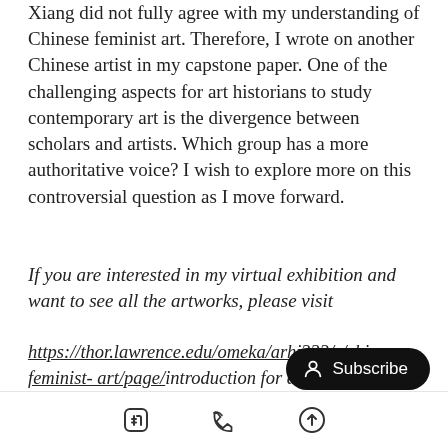Xiang did not fully agree with my understanding of Chinese feminist art. Therefore, I wrote on another Chinese artist in my capstone paper. One of the challenging aspects for art historians to study contemporary art is the divergence between scholars and artists. Which group has a more authoritative voice? I wish to explore more on this controversial question as I move forward.
If you are interested in my virtual exhibition and want to see all the artworks, please visit
https://thor.lawrence.edu/omeka/arhi333/s/chinese-feminist- art/page/introduction for a full list of art images and wall labels.
[Figure (other): Black Subscribe button with person/user icon on the right side of the page]
[Figure (other): Bottom navigation bar with Facebook icon, Twitter/X icon, and share/upload icon]